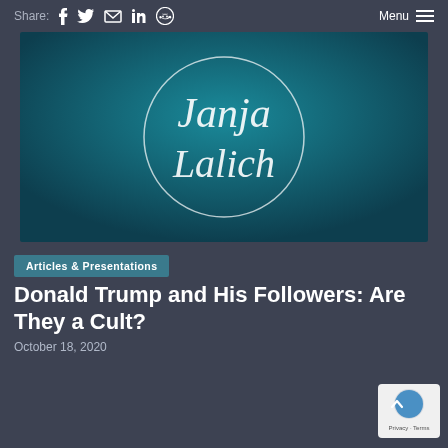Share: [facebook] [twitter] [email] [linkedin] [reddit]   Menu
[Figure (logo): Janja Lalich cursive signature logo on teal/dark blue gradient background with circle outline]
Articles & Presentations
Donald Trump and His Followers: Are They a Cult?
October 18, 2020